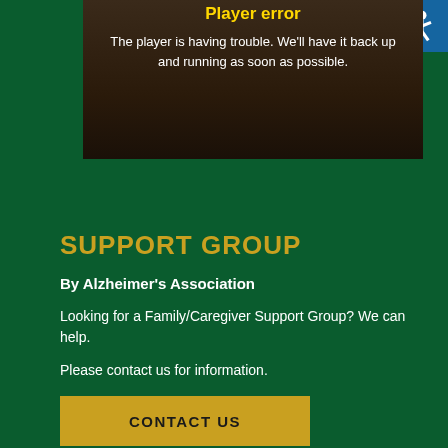[Figure (screenshot): Video player error screen with dark brownish background showing 'Player error' title in yellow and error message in white text]
SUPPORT GROUP
By Alzheimer's Association
Looking for a Family/Caregiver Support Group? We can help.
Please contact us for information.
CONTACT US